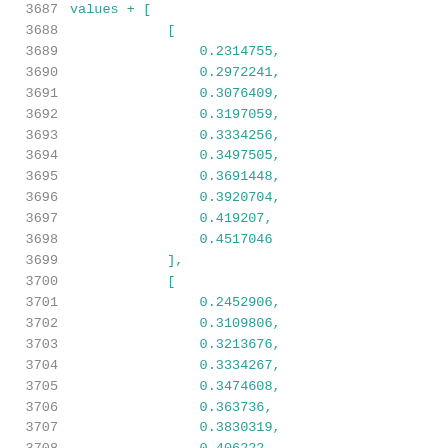Code listing showing numerical array values, lines 3687-3708
3688: [
3689: 0.2314755,
3690: 0.2972241,
3691: 0.3076409,
3692: 0.3197059,
3693: 0.3334256,
3694: 0.3497505,
3695: 0.3691448,
3696: 0.3920704,
3697: 0.419207,
3698: 0.4517046
3699: ],
3700: [
3701: 0.2452906,
3702: 0.3109806,
3703: 0.3213676,
3704: 0.3334267,
3705: 0.3474608,
3706: 0.363736,
3707: 0.3830319,
3708: 0.406222,